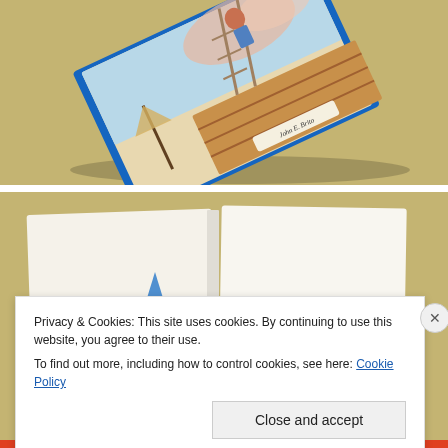[Figure (photo): Photo of a children's book cover lying on a yellowish-tan surface, showing illustrated adventure scene with a rope ladder, ships, and author name 'John E. Brito' visible on the cover.]
[Figure (photo): Photo of an open children's book lying on a yellowish-tan surface, showing an illustration of a gnome-like character in a blue hat on the left page, and text 'Ein Nützenbeuter' on the right page.]
Privacy & Cookies: This site uses cookies. By continuing to use this website, you agree to their use.
To find out more, including how to control cookies, see here: Cookie Policy
Close and accept